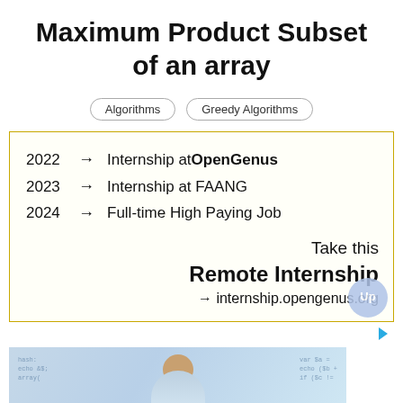Maximum Product Subset of an array
Algorithms | Greedy Algorithms
[Figure (infographic): Advertisement box with yellow border showing career progression: 2022 → Internship at OpenGenus, 2023 → Internship at FAANG, 2024 → Full-time High Paying Job. Bottom right: Take this Remote Internship → internship.opengenus.org]
[Figure (photo): Photo of a person in front of code background, partial advertisement image at the bottom of the page]